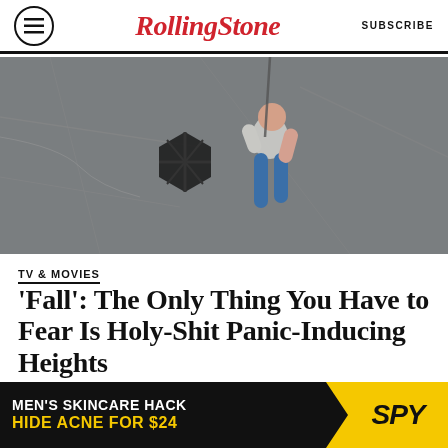Rolling Stone  SUBSCRIBE
[Figure (photo): Aerial/bird's-eye view looking down at a person clinging to a metal structure (tower platform) against a grey barren ground far below, wearing blue pants and light top.]
TV & MOVIES
'Fall': The Only Thing You Have to Fear Is Holy-Shit Panic-Inducing Heights
This survival thriller about two women trapped atop a tower is a low-key, high-concept — literally — B-movie that works
[Figure (other): Advertisement banner: MEN'S SKINCARE HACK HIDE ACNE FOR $24, SPY logo on yellow background]